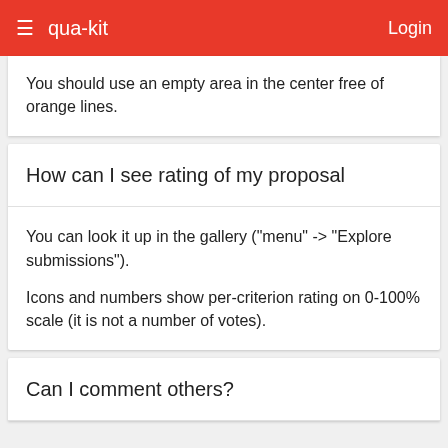qua-kit  Login
You should use an empty area in the center free of orange lines.
How can I see rating of my proposal
You can look it up in the gallery ("menu" -> "Explore submissions").

Icons and numbers show per-criterion rating on 0-100% scale (it is not a number of votes).
Can I comment others?